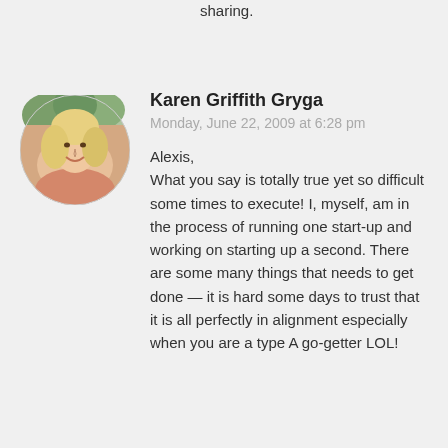sharing.
[Figure (photo): Circular profile photo of a blonde woman smiling outdoors]
Karen Griffith Gryga
Monday, June 22, 2009 at 6:28 pm
Alexis,
What you say is totally true yet so difficult some times to execute! I, myself, am in the process of running one start-up and working on starting up a second. There are some many things that needs to get done — it is hard some days to trust that it is all perfectly in alignment especially when you are a type A go-getter LOL!